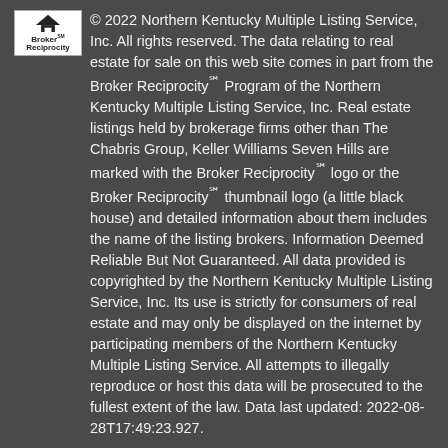© 2022 Northern Kentucky Multiple Listing Service, Inc. All rights reserved. The data relating to real estate for sale on this web site comes in part from the Broker Reciprocity℠ Program of the Northern Kentucky Multiple Listing Service, Inc. Real estate listings held by brokerage firms other than The Chabris Group, Keller Williams Seven Hills are marked with the Broker Reciprocity℠ logo or the Broker Reciprocity℠ thumbnail logo (a little black house) and detailed information about them includes the name of the listing brokers. Information Deemed Reliable But Not Guaranteed. All data provided is copyrighted by the Northern Kentucky Multiple Listing Service, Inc. Its use is strictly for consumers of real estate and may only be displayed on the internet by participating members of the Northern Kentucky Multiple Listing Service. All attempts to illegally reproduce or host this data will be prosecuted to the fullest extent of the law. Data last updated: 2022-08-28T17:49:23.927.
BoomTown! © 2022 | Terms of Use | Privacy Policy | Accessibility | DMCA | Listings Sitemap